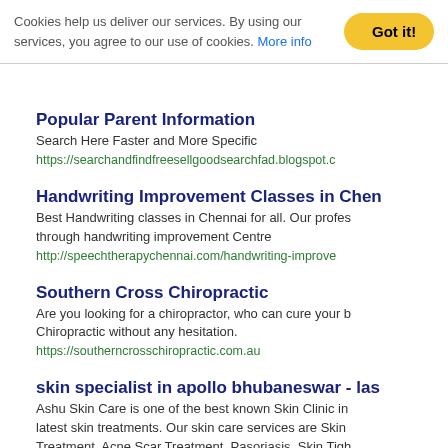Cookies help us deliver our services. By using our services, you agree to our use of cookies. More info
Got it!
Popular Parent Information
Search Here Faster and More Specific
https://searchandfindfreesellgoodsearchfad.blogspot.c
Handwriting Improvement Classes in Chen
Best Handwriting classes in Chennai for all. Our profes through handwriting improvement Centre
http://speechtherapychennai.com/handwriting-improve
Southern Cross Chiropractic
Are you looking for a chiropractor, who can cure your b Chiropractic without any hesitation.
https://southerncrosschiropractic.com.au
skin specialist in apollo bhubaneswar - las
Ashu Skin Care is one of the best known Skin Clinic in latest skin treatments. Our skin care services are Skin Treatment, Acne Scar Treatment, Pasoriasis, Skin Tigh excellence dedicated to meeting your every skin care r your skin health journey, supporting you to maintain be
http://www.ashuskincare.com/
XE-88 Official Website
Xe88 Download apk & IOS Malaysia & Indonesia 2020 missions for everyone to receive from XE88 Vegas831 Game will update the task every day as long as your m have a certain number of bets and you will get a free s
http://www.xe-88.asia/
Related: International Hospital Best Ho...